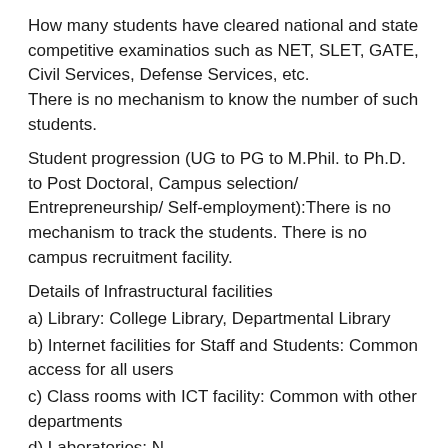How many students have cleared national and state competitive examinatios such as NET, SLET, GATE, Civil Services, Defense Services, etc. There is no mechanism to know the number of such students.
Student progression (UG to PG to M.Phil. to Ph.D. to Post Doctoral, Campus selection/ Entrepreneurship/ Self-employment):There is no mechanism to track the students. There is no campus recruitment facility.
Details of Infrastructural facilities
a) Library: College Library, Departmental Library
b) Internet facilities for Staff and Students: Common access for all users
c) Class rooms with ICT facility: Common with other departments
d) Laboratories: NA